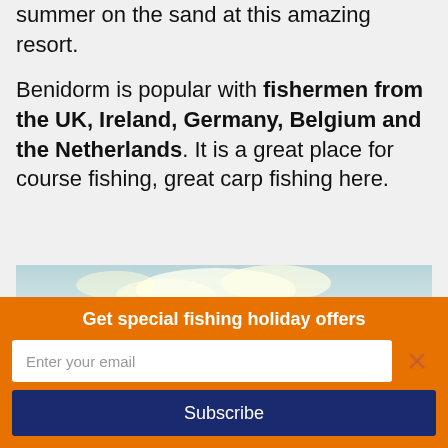summer on the sand at this amazing resort.
Benidorm is popular with fishermen from the UK, Ireland, Germany, Belgium and the Netherlands. It is a great place for course fishing, great carp fishing here.
[Figure (photo): Aerial/elevated view of Benidorm city skyline with beach and sea at sunset/dusk, showing tall buildings along the coast and mountains in the background]
Get special fishing holiday offers
Enter your email
Subscribe